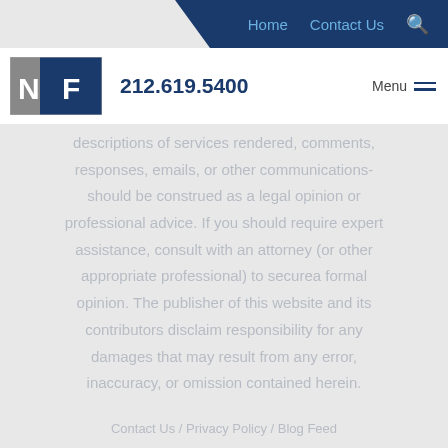Home   Contact Us   🔍
[Figure (logo): NF law firm logo — grey square with white N and blue parallelogram with white F]
212.619.5400   Menu
descriptions of services rendered, comments, responses, emails, or other communications- should be construed as a legal opinion or professional advice. If you should require expert assistance, consult with an attorney (or other appropriate professional) to securea formal opinion. The publisher of this website and its contributors disclaim responsibility for any damages that may result from any error, inaccuracy, or omission contained herein.
Contact Us / Privacy Policy / Blog Feed